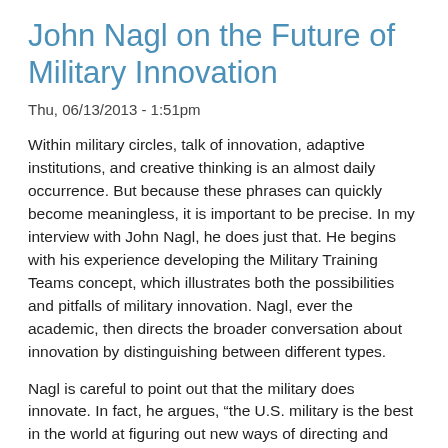John Nagl on the Future of Military Innovation
Thu, 06/13/2013 - 1:51pm
Within military circles, talk of innovation, adaptive institutions, and creative thinking is an almost daily occurrence.  But because these phrases can quickly become meaningless, it is important to be precise. In my interview with John Nagl, he does just that. He begins with his experience developing the Military Training Teams concept, which illustrates both the possibilities and pitfalls of military innovation. Nagl, ever the academic, then directs the broader conversation about innovation by distinguishing between different types.
Nagl is careful to point out that the military does innovate. In fact, he argues, “the U.S. military is the best in the world at figuring out new ways of directing and applying force.” But while the military is excellent at adapting technology to the battlefield, it often struggles with human capital and